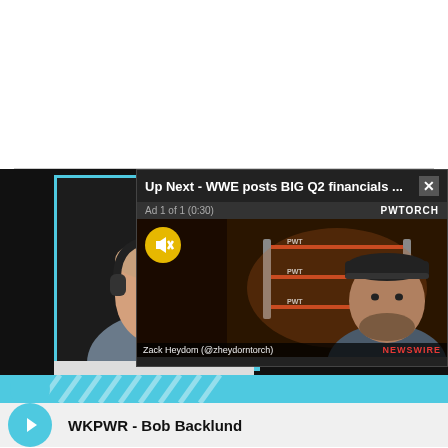[Figure (screenshot): Screenshot of a video player interface showing a podcast recording with a man wearing headphones in the main video, and an 'Up Next' overlay popup showing WWE Q2 financials video with Zack Heydom (@zheydorntorch) labeled, NEWSWIRE banner, ad countdown 'Ad 1 of 1 (0:30)', and PWTORCH branding. Below is a blue decorative stripe and a bottom bar showing 'WKPWR - Bob Backlund' with a play button.]